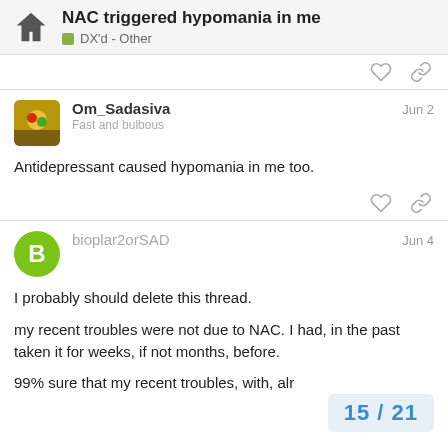NAC triggered hypomania in me — DX'd - Other
Antidepressant caused hypomania in me too.
I probably should delete this thread.

my recent troubles were not due to NAC. I had, in the past taken it for weeks, if not months, before.

99% sure that my recent troubles, with, alr